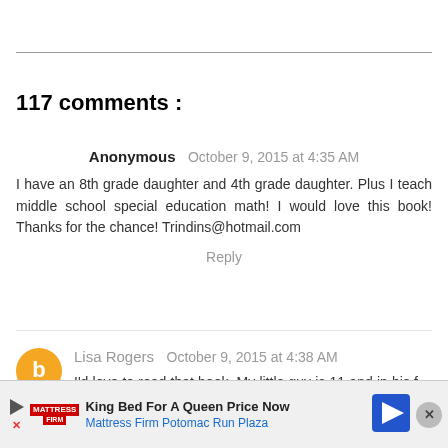117 comments :
Anonymous October 9, 2015 at 4:35 AM
I have an 8th grade daughter and 4th grade daughter. Plus I teach middle school special education math! I would love this book! Thanks for the chance! Trindins@hotmail.com
Reply
Lisa Rogers October 9, 2015 at 4:38 AM
I'd love to read that book. My little guy is 11 and in his ... sch...
[Figure (infographic): Advertisement banner: Mattress Firm - King Bed For A Queen Price Now, Mattress Firm Potomac Run Plaza]